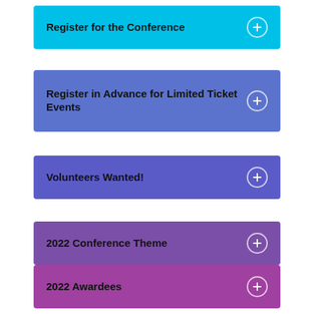Register for the Conference
Register in Advance for Limited Ticket Events
Volunteers Wanted!
2022 Conference Theme
2022 Awardees